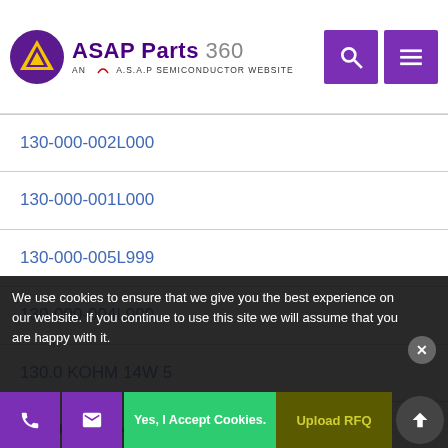ASAP Parts 360 — AN A.S.A.P SEMICONDUCTOR WEBSITE
130-000-002L000
130-000-001L000
130-000-005L999
130-000-004L999
130.0 KOHM 14W 5
130.0 OHM 14W 5
130.0 OHM 4W 5 A
We use cookies to ensure that we give you the best experience on our website. If you continue to use this site we will assume that you are happy with it.
Yes, I Accept Cookies.
Upload RFQ